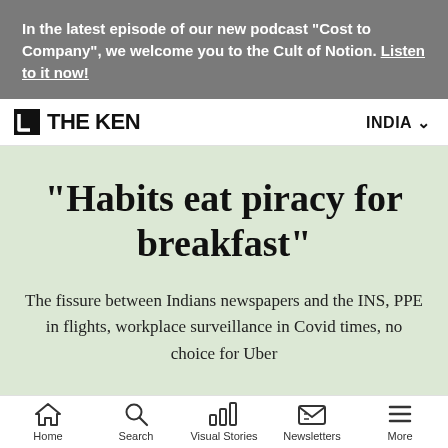In the latest episode of our new podcast "Cost to Company", we welcome you to the Cult of Notion. Listen to it now!
[Figure (logo): The Ken logo with a square bracket icon and bold text THE KEN, and INDIA dropdown on the right]
"Habits eat piracy for breakfast"
The fissure between Indians newspapers and the INS, PPE in flights, workplace surveillance in Covid times, no choice for Uber
Home | Search | Visual Stories | Newsletters | More